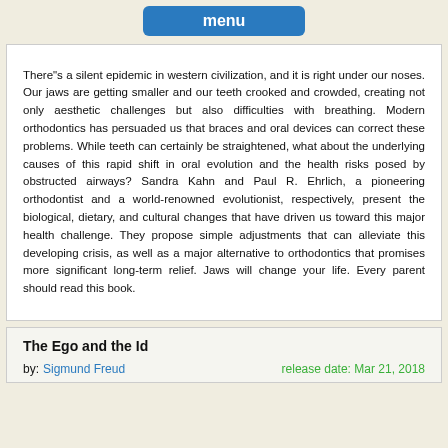menu
There"s a silent epidemic in western civilization, and it is right under our noses. Our jaws are getting smaller and our teeth crooked and crowded, creating not only aesthetic challenges but also difficulties with breathing. Modern orthodontics has persuaded us that braces and oral devices can correct these problems. While teeth can certainly be straightened, what about the underlying causes of this rapid shift in oral evolution and the health risks posed by obstructed airways? Sandra Kahn and Paul R. Ehrlich, a pioneering orthodontist and a world-renowned evolutionist, respectively, present the biological, dietary, and cultural changes that have driven us toward this major health challenge. They propose simple adjustments that can alleviate this developing crisis, as well as a major alternative to orthodontics that promises more significant long-term relief. Jaws will change your life. Every parent should read this book.
The Ego and the Id
by: Sigmund Freud   release date: Mar 21, 2018